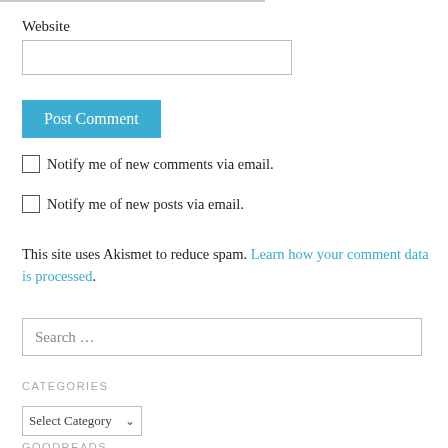Website
Post Comment
Notify me of new comments via email.
Notify me of new posts via email.
This site uses Akismet to reduce spam. Learn how your comment data is processed.
Search ...
CATEGORIES
Select Category
GOODREADS